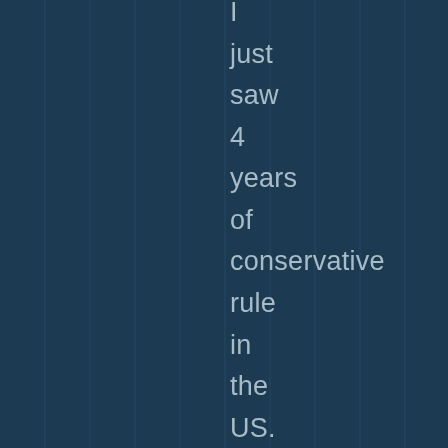I just saw 4 years of conservative rule in the US. Why you give them passes for 4 years